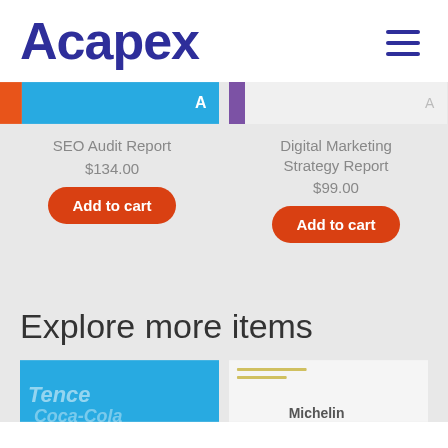Acapex
[Figure (screenshot): Hamburger menu icon (three horizontal lines) in dark blue]
[Figure (screenshot): Partial product card image for SEO Audit Report with orange and blue banner]
SEO Audit Report
$134.00
Add to cart
[Figure (screenshot): Partial product card image for Digital Marketing Strategy Report with purple and white banner]
Digital Marketing Strategy Report
$99.00
Add to cart
Explore more items
[Figure (screenshot): Partial thumbnail showing Tencent/Coca-Cola branding on blue background]
[Figure (screenshot): Partial thumbnail with Michelin branding on light background]